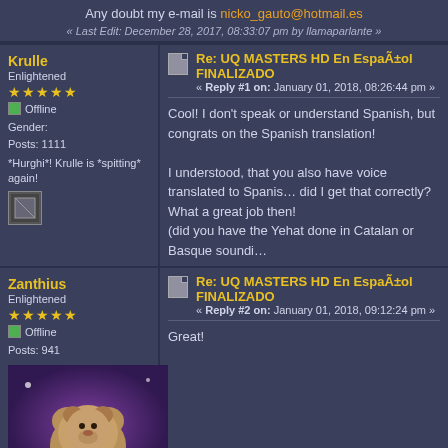Any doubt my e-mail is nicko_gauto@hotmail.es
« Last Edit: December 28, 2017, 08:33:07 pm by llamaparlante »
Krulle
Enlightened
Offline
Gender:
Posts: 1111
*Hurghi*! Krulle is *spitting* again!
Re: UQ MASTERS HD En EspaÃ±ol FINALIZADO
« Reply #1 on: January 01, 2018, 08:26:44 pm »
Cool! I don't speak or understand Spanish, but congrats on the Spanish translation!
I understood, that you also have voice translated to Spanish, did I get that correctly?
What a great job then!
(did you have the Yehat done in Catalan or Basque soundi
Zanthius
Enlightened
Offline
Posts: 941
Re: UQ MASTERS HD En EspaÃ±ol FINALIZADO
« Reply #2 on: January 01, 2018, 09:12:24 pm »
Great!